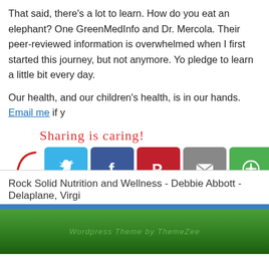That said, there's a lot to learn. How do you eat an elephant? One bite at a time. I love GreenMedInfo and Dr. Mercola. Their peer-reviewed information is invaluable. I was overwhelmed when I first started this journey, but not anymore. You don't have to be. I pledge to learn a little bit every day.
Our health, and our children's health, is in our hands. Email me if you...
[Figure (infographic): Sharing is caring! text with arrow and social media share buttons: Twitter (blue), Facebook (dark blue), Pinterest (red), Email (gray), More (green)]
Category: Natural Therapies, Supplements / Tags: Essential Oils, Green..., homemade vinegar of four theives
Rock Solid Nutrition and Wellness - Debbie Abbott - Delaplane, Virgi...
Wordpress Theme by ThemeZee